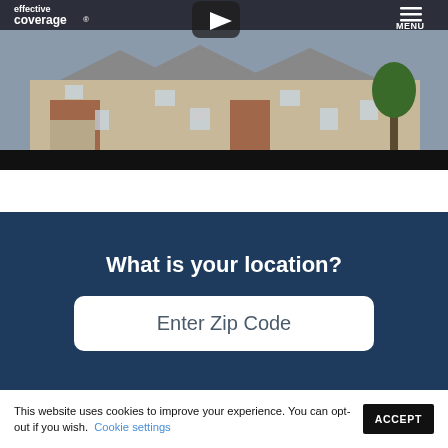[Figure (photo): Hero image of apartment/house exterior with dark overlay header bar containing 'effective coverage' logo and MENU button with hamburger icon. A play button icon is visible at the top center.]
What is your location?
Enter Zip Code
This website uses cookies to improve your experience. You can opt-out if you wish. Cookie settings ACCEPT